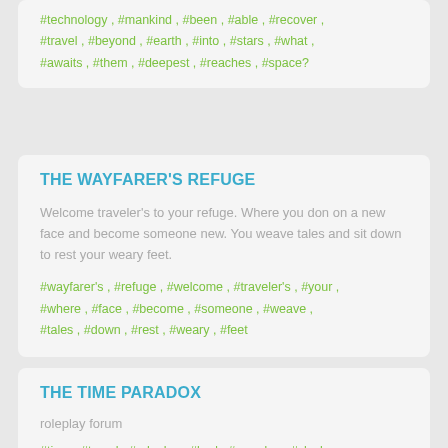#technology , #mankind , #been , #able , #recover , #travel , #beyond , #earth , #into , #stars , #what , #awaits , #them , #deepest , #reaches , #space?
THE WAYFARER'S REFUGE
Welcome traveler's to your refuge. Where you don on a new face and become someone new. You weave tales and sit down to rest your weary feet.
#wayfarer's , #refuge , #welcome , #traveler's , #your , #where , #face , #become , #someone , #weave , #tales , #down , #rest , #weary , #feet
THE TIME PARADOX
roleplay forum
#time , #travel , #roleplay , #lord , #paradox , #clock , #play